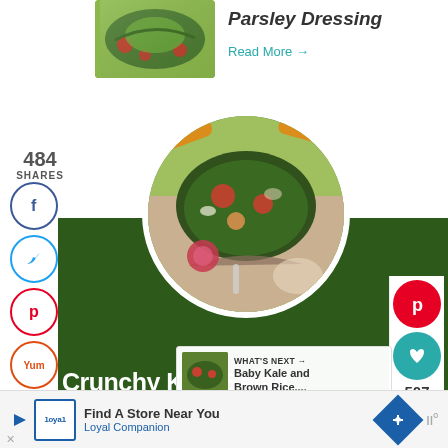[Figure (photo): Food photo of salad with vegetables at top of page]
Parsley Dressing
Read More →
484
SHARES
[Figure (infographic): Social share sidebar icons: Facebook, Twitter, Pinterest, Yummly, Flipboard]
[Figure (photo): Circular photo of Crunchy Kale Salad in a bowl with vegetables]
Crunchy Kale Salad
[Figure (infographic): Pinterest button, heart button, share count 507, and share icon on right side]
WHAT'S NEXT → Baby Kale and Brown Rice....
Find A Store Near You
Loyal Companion